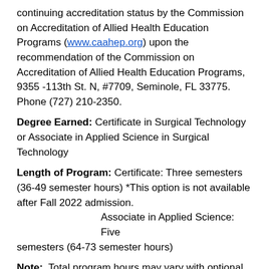continuing accreditation status by the Commission on Accreditation of Allied Health Education Programs (www.caahep.org) upon the recommendation of the Commission on Accreditation of Allied Health Education Programs, 9355 -113th St. N, #7709, Seminole, FL 33775. Phone (727) 210-2350.
Degree Earned: Certificate in Surgical Technology or Associate in Applied Science in Surgical Technology
Length of Program: Certificate: Three semesters (36-49 semester hours) *This option is not available after Fall 2022 admission.
                    Associate in Applied Science: Five semesters (64-73 semester hours)
Note: Total program hours may vary with optional BIO 103 or BIO 111 (previously SUR107), 201 & 202 courses and/or additional SUR options.